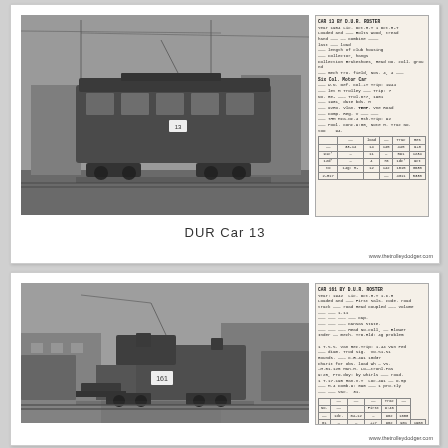[Figure (photo): Black and white photograph of DUR Car 13, a large enclosed electric railway freight/express car, side view, with overhead trolley wires visible and urban buildings in background. Accompanied by a handwritten record card with details about the car.]
DUR Car 13
[Figure (photo): Black and white photograph of a DUR electric locomotive or work motor, front-side view, showing car number 161, with industrial buildings in background. Accompanied by a handwritten record card with details about the car.]